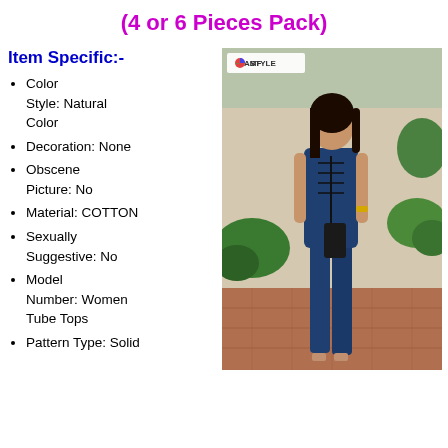(4 or 6 Pieces Pack)
Item Specific:-
Color Style: Natural Color
Decoration: None
Obscene Picture: No
Material: COTTON
Sexually Suggestive: No
Model Number: Women Tube Tops
Pattern Type: Solid
[Figure (photo): Woman wearing a dark blue denim lace-up jumpsuit/overalls, standing outdoors with greenery in the background. AMF Style watermark logo visible in top left of photo.]